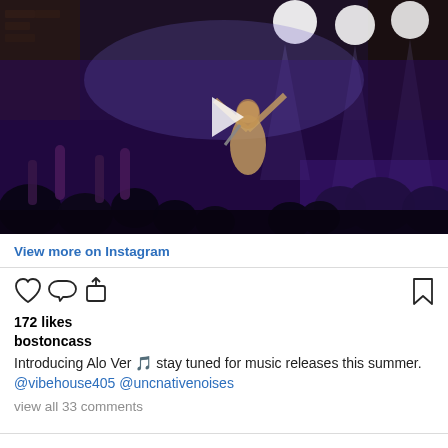[Figure (photo): Concert photo showing a female singer on stage with arms raised, crowd in foreground with hands up, purple/blue stage lighting, large bright stage lights in background, play button overlay indicating video content]
View more on Instagram
[Figure (infographic): Instagram action icons: heart (like), speech bubble (comment), share/export arrow, and bookmark icon]
172 likes
bostoncass
Introducing Alo Ver 🎵 stay tuned for music releases this summer. @vibehouse405 @uncnativenoises
view all 33 comments